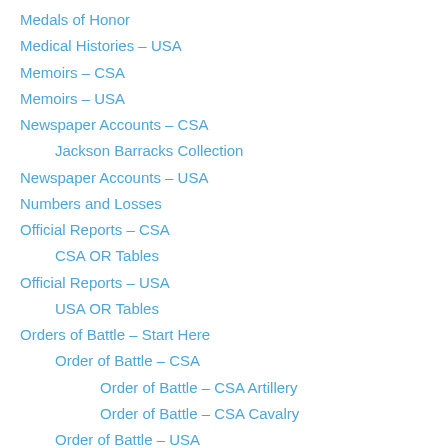Medals of Honor
Medical Histories – USA
Memoirs – CSA
Memoirs – USA
Newspaper Accounts – CSA
Jackson Barracks Collection
Newspaper Accounts – USA
Numbers and Losses
Official Reports – CSA
CSA OR Tables
Official Reports – USA
USA OR Tables
Orders of Battle – Start Here
Order of Battle – CSA
Order of Battle – CSA Artillery
Order of Battle – CSA Cavalry
Order of Battle – USA
Order of Battle – USA Artillery
Regimental Rosters – USA
Soldier Images – CSA